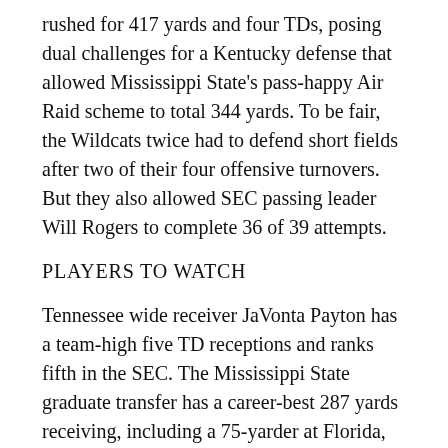rushed for 417 yards and four TDs, posing dual challenges for a Kentucky defense that allowed Mississippi State's pass-happy Air Raid scheme to total 344 yards. To be fair, the Wildcats twice had to defend short fields after two of their four offensive turnovers. But they also allowed SEC passing leader Will Rogers to complete 36 of 39 attempts.
PLAYERS TO WATCH
Tennessee wide receiver JaVonta Payton has a team-high five TD receptions and ranks fifth in the SEC. The Mississippi State graduate transfer has a career-best 287 yards receiving, including a 75-yarder at Florida, and has started every game after starting five of 22 contests with the Bulldogs.
Kentucky wide receiver Wan'Dale Robinson is among the national leaders, ranking 11th with 7.2 receptions per game and 34th with 80.6 yards per outing. The